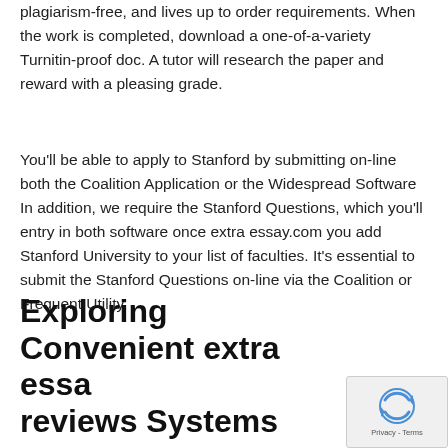plagiarism-free, and lives up to order requirements. When the work is completed, download a one-of-a-variety Turnitin-proof doc. A tutor will research the paper and reward with a pleasing grade.
You'll be able to apply to Stanford by submitting on-line both the Coalition Application or the Widespread Software In addition, we require the Stanford Questions, which you'll entry in both software once extra essay.com you add Stanford University to your list of faculties. It's essential to submit the Stanford Questions on-line via the Coalition or Frequent Utility.
Exploring Convenient extra essay reviews Systems
[Figure (logo): reCAPTCHA widget with Privacy - Terms text]